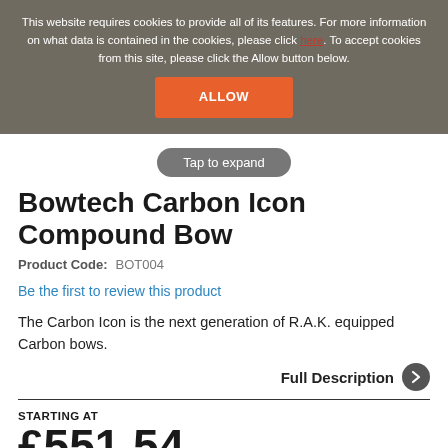This website requires cookies to provide all of its features. For more information on what data is contained in the cookies, please click here. To accept cookies from this site, please click the Allow button below.
ALLOW
Tap to expand
Bowtech Carbon Icon Compound Bow
Product Code:  BOT004
Be the first to review this product
The Carbon Icon is the next generation of R.A.K. equipped Carbon bows.
Full Description
STARTING AT
£551.54